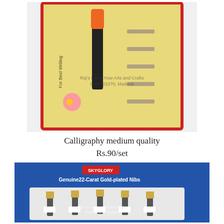[Figure (photo): Calligraphy pen set in retail packaging with orange cap, black pen body, and multiple nib attachments on a yellow card with red border. Watermark: Raj's Know How Arts and Crafts, 9898222270, Madurai]
Calligraphy medium quality
Rs.90/set
[Figure (photo): SkyGlory brand calligraphy nib set in blue packaging. Text: Genuine22-Carat Gold-plated Nibs. Shows 5 calligraphy nibs in a white tray. Side text: CALLIGRAPHY. Watermark: Raj's Know How Arts and Crafts, 9898222270, Madurai]